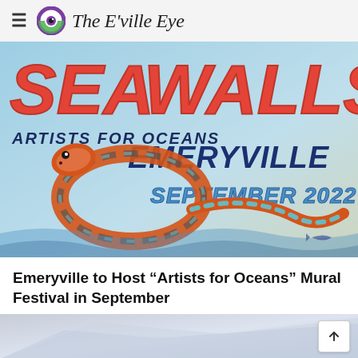The E'ville Eye
[Figure (illustration): Sea Walls Artists for Oceans Emeryville September 2022 festival poster featuring a colorful illustrated sea snake on a retro-style graphic background with red, blue, and teal lettering]
Emeryville to Host “Artists for Oceans” Mural Festival in September
[Figure (photo): Partially visible bottom teaser image with light blue-grey tones, with a back-to-top arrow button in the bottom right]